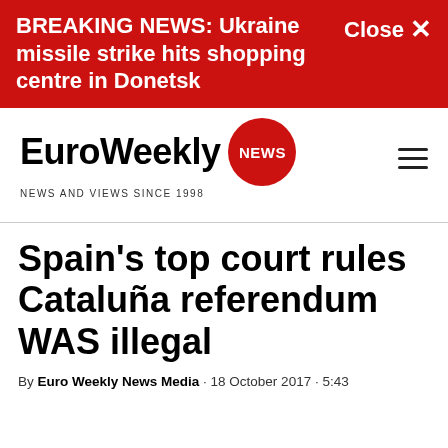BREAKING NEWS: Ukraine missile strike hits shopping centre in Donetsk  Close ✕
[Figure (logo): EuroWeekly NEWS logo with red circular badge and tagline NEWS AND VIEWS SINCE 1998]
Spain's top court rules Cataluña referendum WAS illegal
By Euro Weekly News Media · 18 October 2017 · 5:43